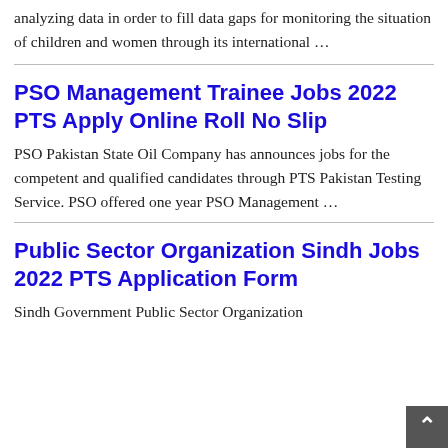analyzing data in order to fill data gaps for monitoring the situation of children and women through its international …
PSO Management Trainee Jobs 2022 PTS Apply Online Roll No Slip
PSO Pakistan State Oil Company has announces jobs for the competent and qualified candidates through PTS Pakistan Testing Service. PSO offered one year PSO Management …
Public Sector Organization Sindh Jobs 2022 PTS Application Form
Sindh Government Public Sector Organization